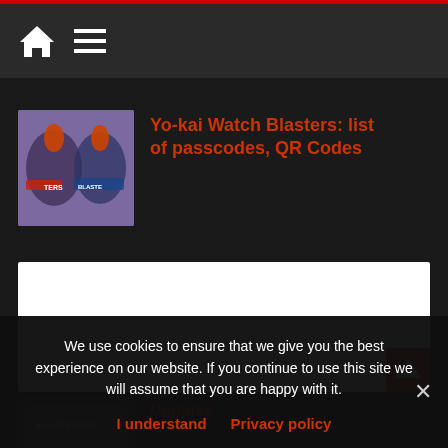Navigation bar with home and menu icons
Yo-kai Watch Blasters: list of passcodes, QR Codes
[Figure (screenshot): Thumbnail image for Yo-kai Watch Blasters article showing game characters on a purple background]
[Figure (screenshot): White content/advertisement box]
[Figure (screenshot): Partially visible second article thumbnail]
Updates
We use cookies to ensure that we give you the best experience on our website. If you continue to use this site we will assume that you are happy with it.
I understand  Privacy policy